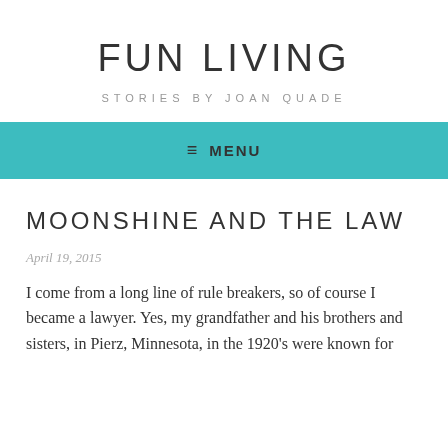FUN LIVING
STORIES BY JOAN QUADE
≡ MENU
MOONSHINE AND THE LAW
April 19, 2015
I come from a long line of rule breakers, so of course I became a lawyer. Yes, my grandfather and his brothers and sisters, in Pierz, Minnesota, in the 1920's were known for